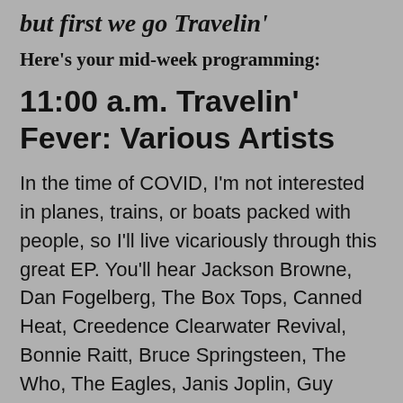but first we go Travelin'
Here's your mid-week programming:
11:00 a.m. Travelin' Fever: Various Artists
In the time of COVID, I'm not interested in planes, trains, or boats packed with people, so I'll live vicariously through this great EP. You'll hear Jackson Browne, Dan Fogelberg, The Box Tops, Canned Heat, Creedence Clearwater Revival, Bonnie Raitt, Bruce Springsteen, The Who, The Eagles, Janis Joplin, Guy Clark, Del